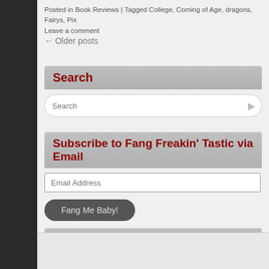Posted in Book Reviews | Tagged College, Coming of Age, dragons, Fairys, Pix
Leave a comment
← Older posts
Search
Subscribe to Fang Freakin' Tastic via Email
Check out my Tupperware!